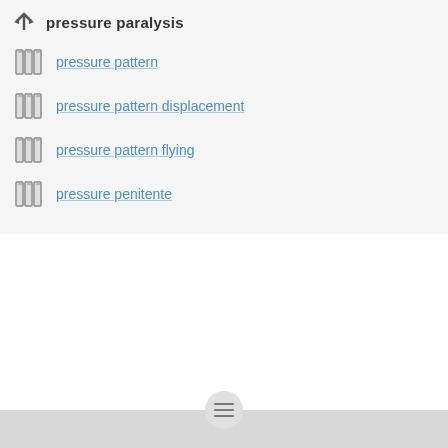pressure paralysis
pressure pattern
pressure pattern displacement
pressure pattern flying
pressure penitente